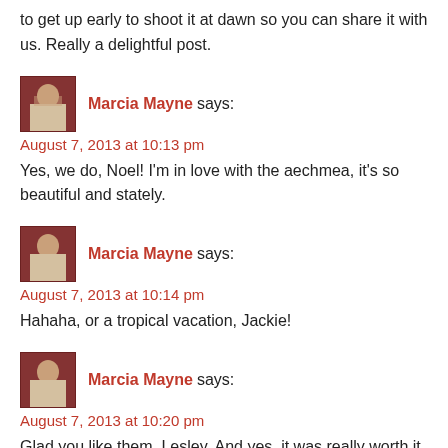to get up early to shoot it at dawn so you can share it with us. Really a delightful post.
Marcia Mayne says:
August 7, 2013 at 10:13 pm
Yes, we do, Noel! I'm in love with the aechmea, it's so beautiful and stately.
Marcia Mayne says:
August 7, 2013 at 10:14 pm
Hahaha, or a tropical vacation, Jackie!
Marcia Mayne says:
August 7, 2013 at 10:20 pm
Glad you like them, Lesley. And yes, it was really worth it.
I've since talked to other people who've done the